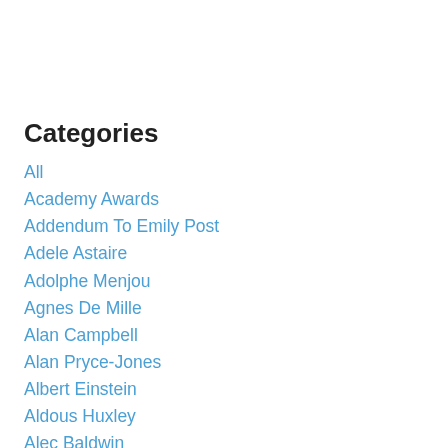Categories
All
Academy Awards
Addendum To Emily Post
Adele Astaire
Adolphe Menjou
Agnes De Mille
Alan Campbell
Alan Pryce-Jones
Albert Einstein
Aldous Huxley
Alec Baldwin
Alexander Liberman
Alfred Hitchcock
Alfred Stieglitz